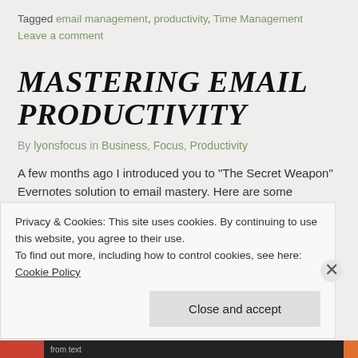Tagged email management, productivity, Time Management    Leave a comment
MASTERING EMAIL PRODUCTIVITY
By lyonsfocus in Business, Focus, Productivity
A few months ago I introduced you to "The Secret Weapon" Evernotes solution to email mastery. Here are some additional tips to help you get focused with your email. The steps outlined below
Privacy & Cookies: This site uses cookies. By continuing to use this website, you agree to their use.
To find out more, including how to control cookies, see here: Cookie Policy
Close and accept